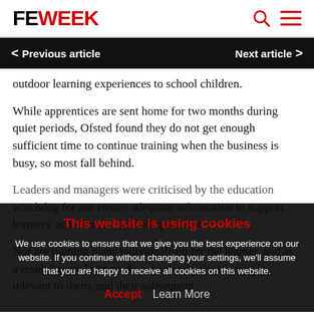FE WEEK
Previous article | Next article
outdoor learning experiences to school children.
While apprentices are sent home for two months during quiet periods, Ofsted found they do not get enough sufficient time to continue training when the business is busy, so most fall behind.
Leaders and managers were criticised by the education watchdog for not ensure adequate information to support learners' achievement of their qualification.
Nor are training plans individualised for the learner, and as a result "many learners do not see why the training is relevant to them, and their subsequent
This website is using cookies
We use cookies to ensure that we give you the best experience on our website. If you continue without changing your settings, we'll assume that you are happy to receive all cookies on this website.
Accept   Learn More